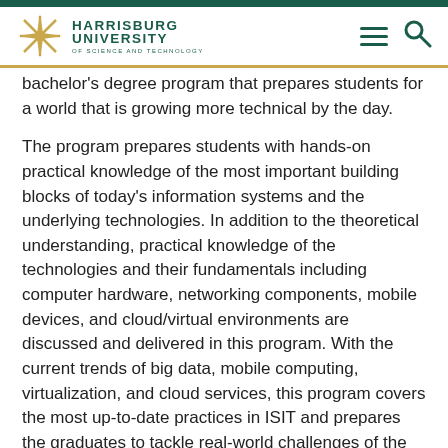Harrisburg University of Science and Technology
bachelor's degree program that prepares students for a world that is growing more technical by the day.
The program prepares students with hands-on practical knowledge of the most important building blocks of today's information systems and the underlying technologies. In addition to the theoretical understanding, practical knowledge of the technologies and their fundamentals including computer hardware, networking components, mobile devices, and cloud/virtual environments are discussed and delivered in this program. With the current trends of big data, mobile computing, virtualization, and cloud services, this program covers the most up-to-date practices in ISIT and prepares the graduates to tackle real-world challenges of the industry.
In addition to theoretical understanding, the ISIT program